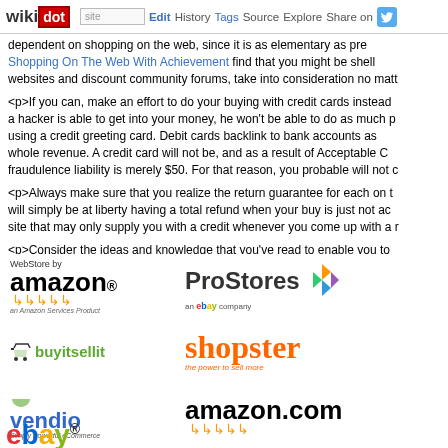wikidot | site | Edit | History | Tags | Source | Explore | Share on [Twitter]
dependent on shopping on the web, since it is as elementary as pre... Shopping On The Web With Achievement find that you might be shell... websites and discount community forums, take into consideration no matt...
<p>If you can, make an effort to do your buying with credit cards instead... a hacker is able to get into your money, he won't be able to do as much p... using a credit greeting card. Debit cards backlink to bank accounts as... whole revenue. A credit card will not be, and as a result of Acceptable C... fraudulence liability is merely $50. For that reason, you probable will not c...
<p>Always make sure that you realize the return guarantee for each on t... will simply be at liberty having a total refund when your buy is just not ac... site that may only supply you with a credit whenever you come up with a r...
<p>Consider the ideas and knowledge that you've read to enable you to... encounter. The suggestions are going to alter every so often, therefore yo... altering field. You are going to definitely be capable of see the advantages...
[Figure (logo): Grid of e-commerce logos: WebStore by Amazon, ProStores (an eBay company), buyitsellit, shopster (the power to sell more), Vendio (Simply Powerful eCommerce), amazon.com, and partial eBay logo]